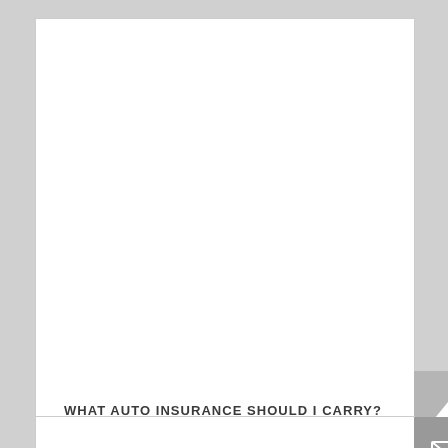WHAT AUTO INSURANCE SHOULD I CARRY?
[Figure (other): Up arrow navigation button (chevron pointing up) on a grey square background]
[Figure (other): Email/envelope icon on a dark grey square background]